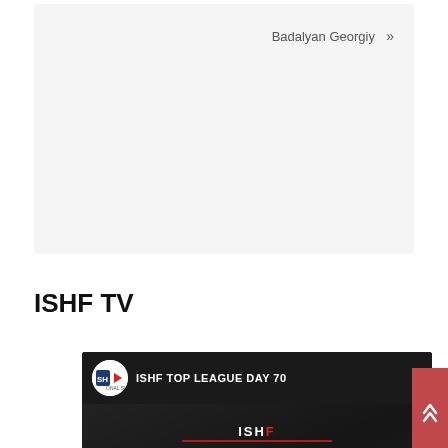Badalyan Georgiy »
ISHF TV
[Figure (screenshot): YouTube video embed showing 'ISHF TOP LEAGUE DAY 70' with ISHF logo, video title bar, and thumbnail with YouTube play button over ISHF TOP LEAGUE graphic on dark fabric background]